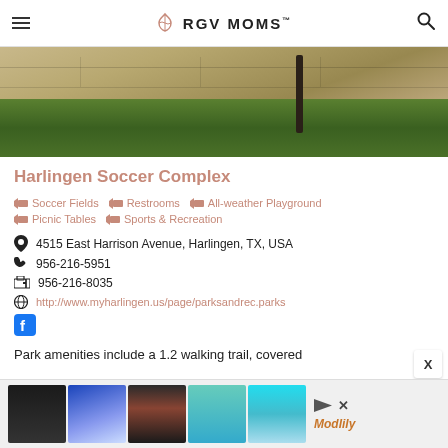RGV MOMS
[Figure (photo): Outdoor photo showing stone wall and green grass at a park]
Harlingen Soccer Complex
Soccer Fields
Restrooms
All-weather Playground
Picnic Tables
Sports & Recreation
4515 East Harrison Avenue, Harlingen, TX, USA
956-216-5951
956-216-8035
http://www.myharlingen.us/page/parksandrec.parks
Park amenities include a 1.2 walking trail, covered
[Figure (screenshot): Advertisement banner with clothing items from Modlily]